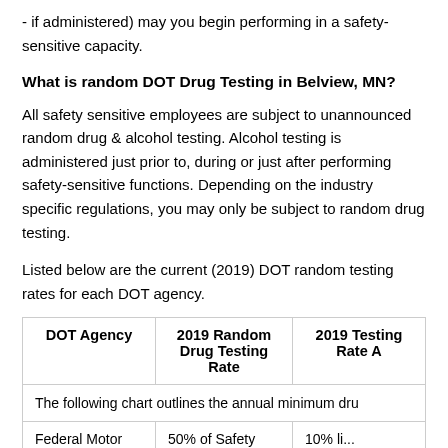- if administered) may you begin performing in a safety-sensitive capacity.
What is random DOT Drug Testing in Belview, MN?
All safety sensitive employees are subject to unannounced random drug & alcohol testing. Alcohol testing is administered just prior to, during or just after performing safety-sensitive functions. Depending on the industry specific regulations, you may only be subject to random drug testing.
Listed below are the current (2019) DOT random testing rates for each DOT agency.
| DOT Agency | 2019 Random Drug Testing Rate | 2019 Random Alcohol Testing Rate |
| --- | --- | --- |
| Federal Motor Ca... | 50% of Safety Admi... | 10% li... |